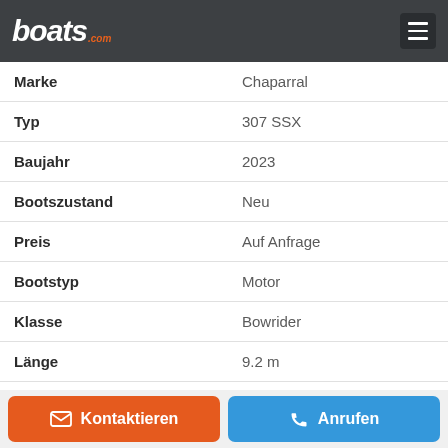boats.com
| Attribut | Wert |
| --- | --- |
| Marke | Chaparral |
| Typ | 307 SSX |
| Baujahr | 2023 |
| Bootszustand | Neu |
| Preis | Auf Anfrage |
| Bootstyp | Motor |
| Klasse | Bowrider |
| Länge | 9.2 m |
| Treibstoff | Benzin |
| Rumpfmaterial | GFK (Fiberglass) |
| Liegeplatz | Osage Beach, Missouri, Vereinigte |
Kontaktieren
Anrufen